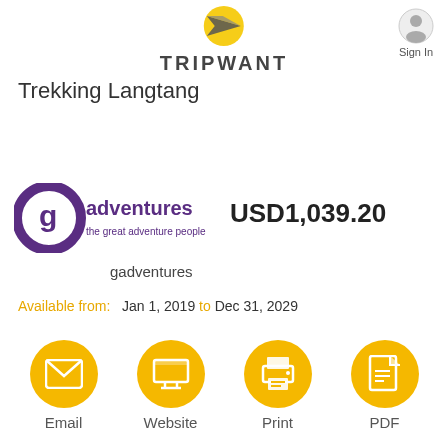[Figure (logo): Tripwant logo with paper plane icon and TRIPWANT text]
[Figure (logo): Sign In user icon button]
Trekking Langtang
[Figure (logo): G Adventures logo - the great adventure people]
USD1,039.20
gadventures
Available from: Jan 1, 2019 to Dec 31, 2029
[Figure (infographic): Email, Website, Print, PDF action buttons with icons]